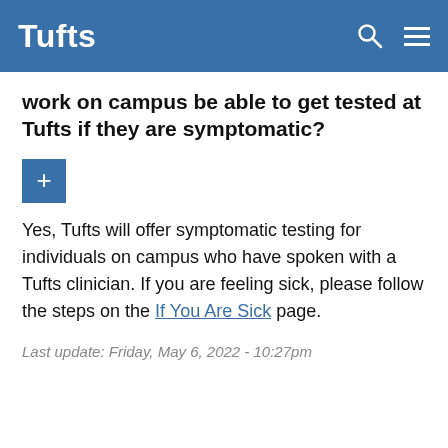Tufts
work on campus be able to get tested at Tufts if they are symptomatic?
Yes, Tufts will offer symptomatic testing for individuals on campus who have spoken with a Tufts clinician. If you are feeling sick, please follow the steps on the If You Are Sick page.
Last update: Friday, May 6, 2022 - 10:27pm